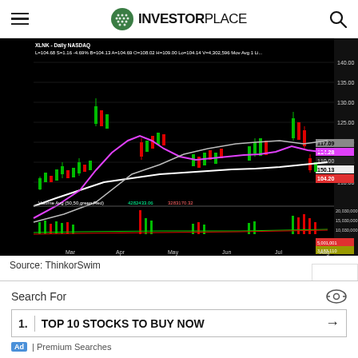INVESTORPLACE
[Figure (continuous-plot): XLNK Daily NASDAQ candlestick chart with moving average lines (white and magenta/purple), showing price action from March through August. Price axis on right shows values from ~85 to ~140. Bottom panel shows volume bars with green/red coloring and volume moving averages. Labels: Volume Avg (50,50,green,Red) 4282433.06 3283170.32]
Source: ThinkorSwim
Search For
1. TOP 10 STOCKS TO BUY NOW
Ad | Premium Searches